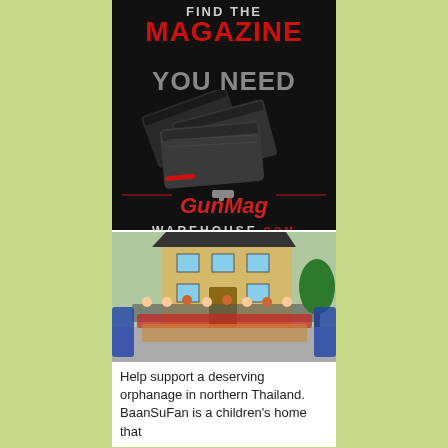[Figure (advertisement): GunMag Warehouse advertisement with dark background, text 'FIND THE MAGAZINE YOU NEED' with gun magazines image, and GunMag Warehouse logo in red italic text]
[Figure (photo): Group photo of children and adults standing in front of a two-story building in Thailand, for BaanSuFan orphanage]
Help support a deserving orphanage in northern Thailand.  BaanSuFan is a children's home that